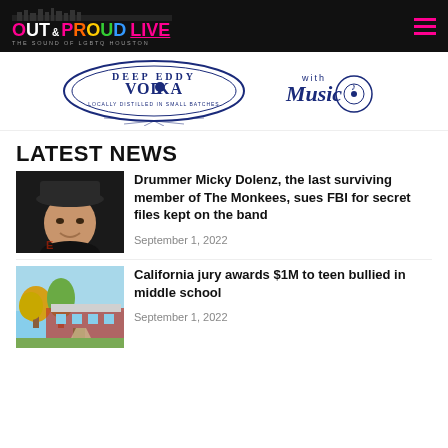OUT & PROUD LIVE — THE SOUND OF LGBTQ HOUSTON
[Figure (logo): Deep Eddy Vodka and With Music logos/banner advertisement]
LATEST NEWS
[Figure (photo): Photo of Micky Dolenz wearing a black hat]
Drummer Micky Dolenz, the last surviving member of The Monkees, sues FBI for secret files kept on the band
September 1, 2022
[Figure (photo): Photo of a school building with trees in front]
California jury awards $1M to teen bullied in middle school
September 1, 2022